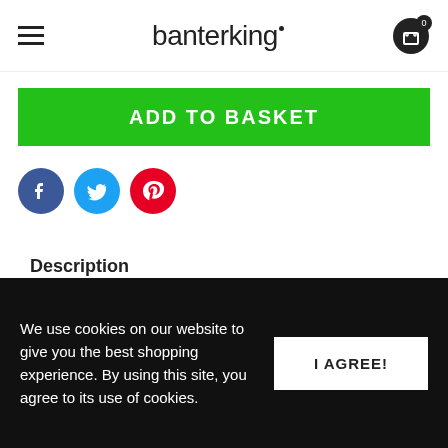banterking
ADD TO BASKET
[Figure (illustration): Social media share icons: Facebook (blue circle with f), Twitter (light blue circle with bird), Pinterest (red circle with P)]
Description
PRODUCT DETAILS
We use cookies on our website to give you the best shopping experience. By using this site, you agree to its use of cookies.